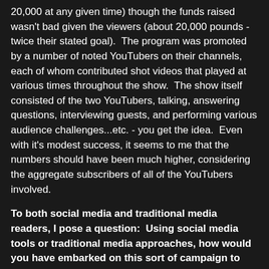20,000 at any given time) though the funds raised wasn't bad given the viewers (about 20,000 pounds - twice their stated goal).  The program was promoted by a number of noted YouTubers on their channels, each of whom contributed shot videos that played at various times throughout the show.  The show itself consisted of the two YouTubers, talking, answering questions, interviewing guests, and performing various audience challenges...etc. - you get the idea.  Even with it's modest success, it seems to me that the numbers should have been much higher, considering the aggregate subscribers of all of the YouTubers involved.
To both social media and traditional media readers, I pose a question:  Using social media tools or traditional media approaches, how would you have embarked on this sort of campaign to create a wider appeal to the YouTube community and beyond?
If you happen to see any of this show, I'd also be curious about your reaction.